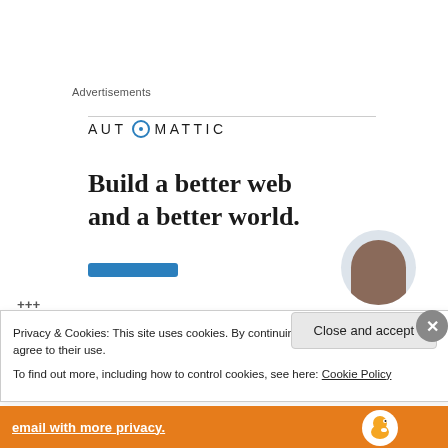Advertisements
[Figure (logo): Automattic logo with stylized compass 'O' — text reads AUTOMATTIC in spaced uppercase letters]
Build a better web
and a better world.
+++
Privacy & Cookies: This site uses cookies. By continuing to use this website, you agree to their use.
To find out more, including how to control cookies, see here: Cookie Policy
Close and accept
email with more privacy.